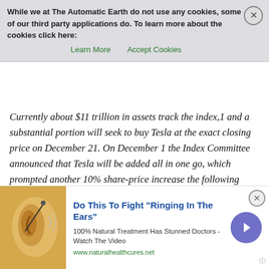an eightfold increase from its March low. Given Tesla's very large market cap, the S&P Index Committee, which maintains the S&P 500, decided to add Tesla in two tranches rather than adding a company's full weight at one time.
Currently about $11 trillion in assets track the index,1 and a substantial portion will seek to buy Tesla at the exact closing price on December 21. On December 1 the Index Committee announced that Tesla will be added all in one go, which prompted another 10% share-price increase the following week. The result is that founder Elon Musk now has the second-largest fortune in history. For now, only Jeff Bezos, founder of Amazon, is wealthier. Tesla will be the largest stock to enter the S&P 500 in the history of the index, by both rank (likely the sixth largest company in the index2) and absolute market capitalization ($608 billion as of the December 7, 2020, market close). By the close of trading on December 21, index funds, ETFs, and other index-tracking strategies will have purchased Tesla shares valued at nearly $220 billion, most seeking to trade at the opening price.
[Figure (other): Advertisement banner: Do This To Fight 'Ringing In The Ears' - 100% Natural Treatment Has Stunned Doctors - Watch The Video. www.naturalhealthcures.net. Shows an ear illustration with purple circle arrow button.]